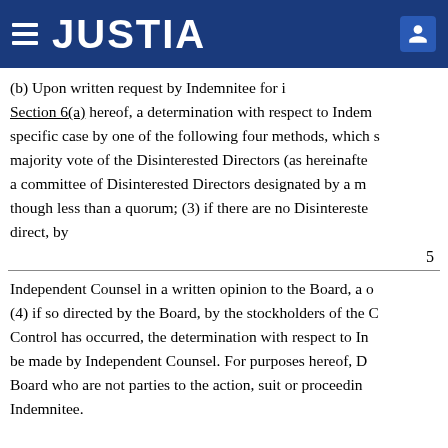JUSTIA
(b) Upon written request by Indemnitee for indemnification pursuant to Section 6(a) hereof, a determination with respect to Indemnitee's entitlement thereto in the specific case by one of the following four methods, which shall be conclusive and binding: (1) majority vote of the Disinterested Directors (as hereinafter defined), even though less than a quorum; (2) a committee of Disinterested Directors designated by a majority vote of such directors, even though less than a quorum; (3) if there are no Disinterested Directors or if the Disinterested Directors so direct, by
5
Independent Counsel in a written opinion to the Board, a copy of which shall be delivered to Indemnitee; or (4) if so directed by the Board, by the stockholders of the Company; provided, however, that if a Change in Control has occurred, the determination with respect to Indemnitee's entitlement to indemnification shall be made by Independent Counsel. For purposes hereof, Disinterested Directors means the members of the Board who are not parties to the action, suit or proceeding in respect of which indemnification is sought by Indemnitee.